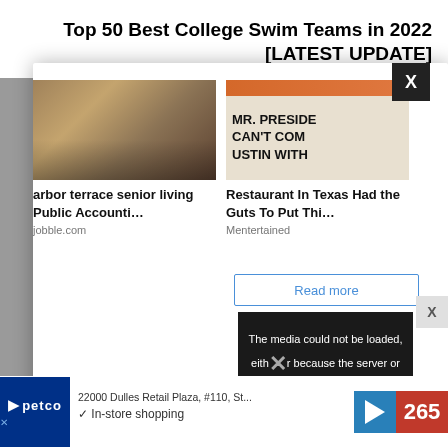Top 50 Best College Swim Teams in 2022 [LATEST UPDATE]
[Figure (screenshot): Modal ad popup with two article cards: (1) person at desk image with title 'arbor terrace senior living Public Accounti…' from jobble.com, (2) restaurant sign image with text 'MR. PRESIDE CAN'T COM USTIN WITH' and title 'Restaurant In Texas Had the Guts To Put Thi…' from Mentertained, with a 'Read more' button and a black overlay showing 'The media could not be loaded, either because the server or network failed or because the format is not supported'. Close X button in top-right corner.]
[Figure (screenshot): Bottom banner ad for Petco showing address '22000 Dulles Retail Plaza, #110, St…', 'In-store shopping', navigation arrow icon, and number 265 in red.]